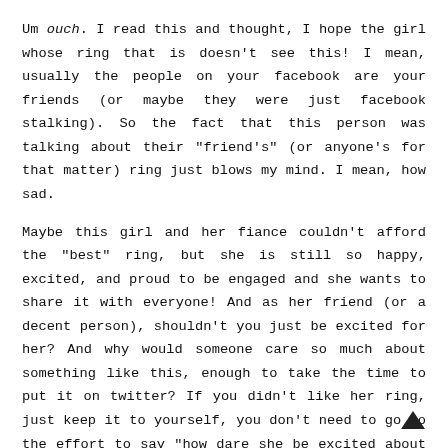Um ouch. I read this and thought, I hope the girl whose ring that is doesn't see this! I mean, usually the people on your facebook are your friends (or maybe they were just facebook stalking). So the fact that this person was talking about their "friend's" (or anyone's for that matter) ring just blows my mind. I mean, how sad.
Maybe this girl and her fiance couldn't afford the "best" ring, but she is still so happy, excited, and proud to be engaged and she wants to share it with everyone! And as her friend (or a decent person), shouldn't you just be excited for her? And why would someone care so much about something like this, enough to take the time to put it on twitter? If you didn't like her ring, just keep it to yourself, you don't need to go to the effort to say "how dare she be excited about getting engaged and put a picture of her "ugly" ring online." I mean, how much ruder can you get?
With all these thoughts running through my head about this person's